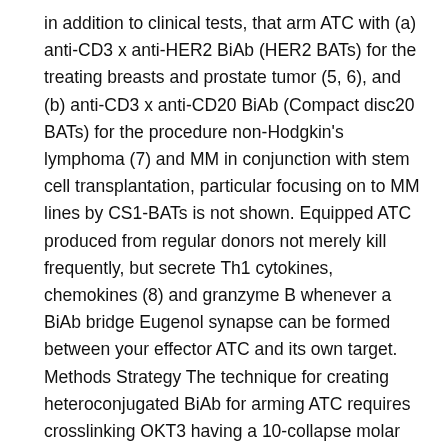in addition to clinical tests, that arm ATC with (a) anti-CD3 x anti-HER2 BiAb (HER2 BATs) for the treating breasts and prostate tumor (5, 6), and (b) anti-CD3 x anti-CD20 BiAb (Compact disc20 BATs) for the procedure non-Hodgkin's lymphoma (7) and MM in conjunction with stem cell transplantation, particular focusing on to MM lines by CS1-BATs is not shown. Equipped ATC produced from regular donors not merely kill frequently, but secrete Th1 cytokines, chemokines (8) and granzyme B whenever a BiAb bridge Eugenol synapse can be formed between your effector ATC and its own target. Methods Strategy The technique for creating heteroconjugated BiAb for arming ATC requires crosslinking OKT3 having a 10-collapse molar more than Traut's reagent and anti-CS1 (elotuzumab) having a 4-collapse molar more than Sulpho-SMCC based on Lamin A antibody manufacturer's guidelines (9) (step one 1), mixing both cross-linked antibodies over night at 4C to create heteroconjugated CS1Bi (step two 2), arming the extended ATC